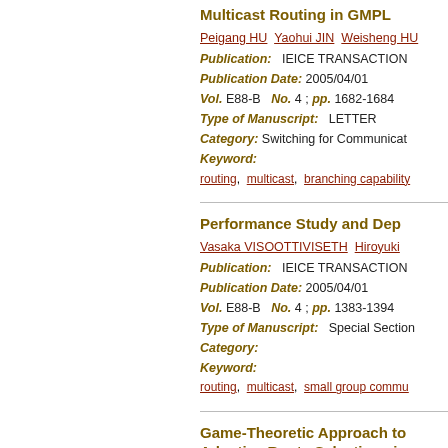Multicast Routing in GMPL...
Peigang HU  Yaohui JIN  Weisheng HU...
Publication:  IEICE TRANSACTION...
Publication Date: 2005/04/01
Vol. E88-B  No. 4 ; pp. 1682-1684
Type of Manuscript:  LETTER
Category:  Switching for Communicat...
Keyword:
routing,  multicast,  branching capability...
Performance Study and Depl...
Vasaka VISOOTTIVISETH  Hiroyuki ...
Publication:  IEICE TRANSACTION...
Publication Date: 2005/04/01
Vol. E88-B  No. 4 ; pp. 1383-1394
Type of Manuscript:  Special Section...
Category:
Keyword:
routing,  multicast,  small group commu...
Game-Theoretic Approach to Adaptive Route Selections in...